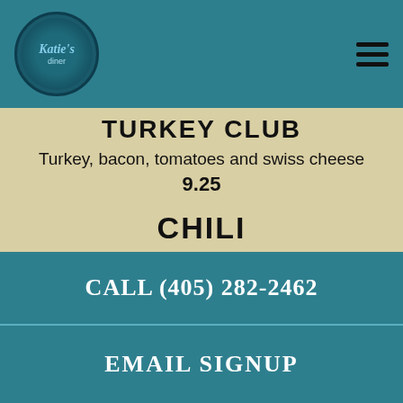[Figure (logo): Katie's diner circular logo with teal background and decorative border]
TURKEY CLUB
Turkey, bacon, tomatoes and swiss cheese
9.25
CHILI
Onions and cheddar cheese omelet topped with our homemade red chili.
10.25
WHICH CAME FIRST
CALL (405) 282-2462
EMAIL SIGNUP